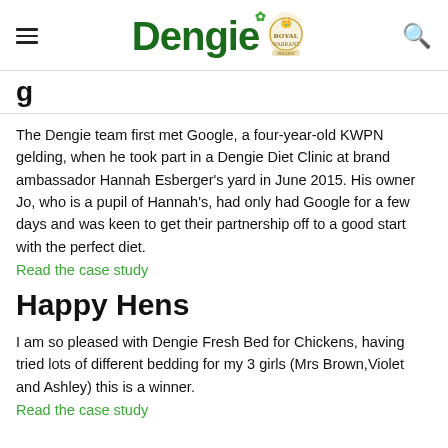Dengie [logo with royal crest]
g...
The Dengie team first met Google, a four-year-old KWPN gelding, when he took part in a Dengie Diet Clinic at brand ambassador Hannah Esberger's yard in June 2015. His owner Jo, who is a pupil of Hannah's, had only had Google for a few days and was keen to get their partnership off to a good start with the perfect diet.
Read the case study
Happy Hens
I am so pleased with Dengie Fresh Bed for Chickens, having tried lots of different bedding for my 3 girls (Mrs Brown,Violet and Ashley) this is a winner.
Read the case study